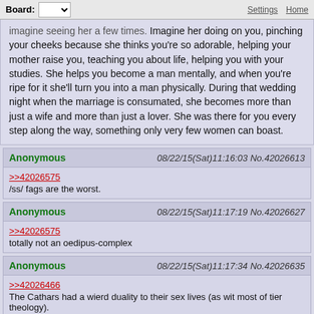Board: /a/ - Anime & Manga | Settings | Home
imagine seeing her a few times. Imagine her doing on you, pinching your cheeks because she thinks you're so adorable, helping your mother raise you, teaching you about life, helping you with your studies. She helps you become a man mentally, and when you're ripe for it she'll turn you into a man physically. During that wedding night when the marriage is consumated, she becomes more than just a wife and more than just a lover. She was there for you every step along the way, something only very few women can boast.
Anonymous 08/22/15(Sat)11:16:03 No.42026613 >>42026575 /ss/ fags are the worst.
Anonymous 08/22/15(Sat)11:17:19 No.42026627 >>42026575 totally not an oedipus-complex
Anonymous 08/22/15(Sat)11:17:34 No.42026635 >>42026466 The Cathars had a wierd duality to their sex lives (as wit most of tier theology). Basically a large part of their cosmos hinged on the physical world